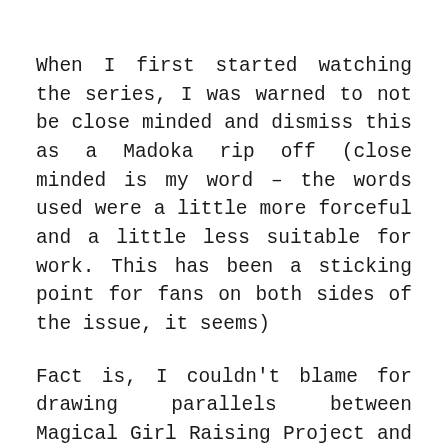When I first started watching the series, I was warned to not be close minded and dismiss this as a Madoka rip off (close minded is my word – the words used were a little more forceful and a little less suitable for work. This has been a sticking point for fans on both sides of the issue, it seems)
Fact is, I couldn't blame for drawing parallels between Magical Girl Raising Project and Puella Magi Madoka Magica. The similarities are plentiful and obvious right off the bat. Both are ostensibly a serious take on the Magical Girl archetype, both treat their casts with unabashed ruthlessness, both have visually similar pink haired heroines and morally dubious mildly pokemon like mysterious creatures that serve as narrators and plot